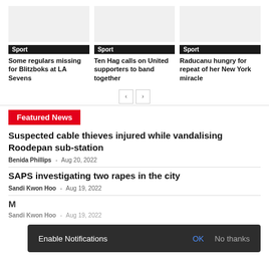Sport
Some regulars missing for Blitzboks at LA Sevens
Sport
Ten Hag calls on United supporters to band together
Sport
Raducanu hungry for repeat of her New York miracle
Featured News
Suspected cable thieves injured while vandalising Roodepan sub-station
Benida Phillips - Aug 20, 2022
SAPS investigating two rapes in the city
Sandi Kwon Hoo - Aug 19, 2022
M
Sandi Kwon Hoo - Aug 19, 2022
Enable Notifications OK No thanks